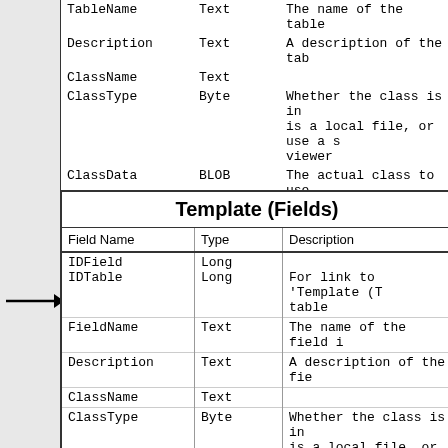| Field Name | Type | Description |
| --- | --- | --- |
| TableName | Text | The name of the table |
| Description | Text | A description of the tab |
| ClassName | Text |  |
| ClassType | Byte | Whether the class is in is a local file, or use a viewer |
| ClassData | BLOB | The actual class to use complete table, if any |
| Field Name | Type | Description |
| --- | --- | --- |
| IDField | Long |  |
| IDTable | Long | For link to 'Template (T table |
| FieldName | Text | The name of the field i |
| Description | Text | A description of the fie |
| ClassName | Text |  |
| ClassType | Byte | Whether the class is in is a local file, or use a viewer |
| ClassData | BLOB | The actual class to use single field, if any |